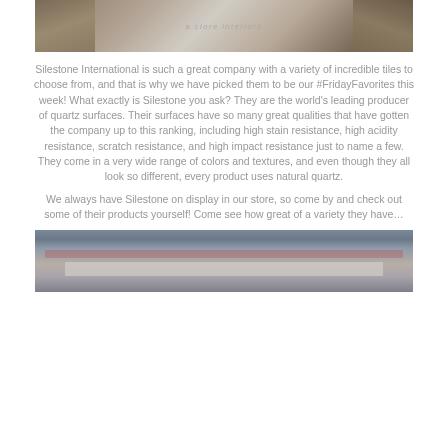[Figure (photo): Top photo showing stone/quartz tile surface with 'a.clore interiors' watermark text in center]
Silestone International is such a great company with a variety of incredible tiles to choose from, and that is why we have picked them to be our #FridayFavorites this week! What exactly is Silestone you ask? They are the world's leading producer of quartz surfaces. Their surfaces have so many great qualities that have gotten the company up to this ranking, including high stain resistance, high acidity resistance, scratch resistance, and high impact resistance just to name a few. They come in a very wide range of colors and textures, and even though they all look so different, every product uses natural quartz.
We always have Silestone on display in our store, so come by and check out some of their products yourself! Come see how great of a variety they have…
[Figure (photo): Bottom photo showing Silestone products on display in store]